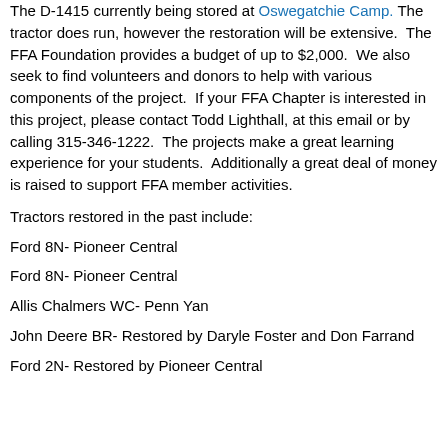The D-1415 currently being stored at Oswegatchie Camp. The tractor does run, however the restoration will be extensive. The FFA Foundation provides a budget of up to $2,000. We also seek to find volunteers and donors to help with various components of the project. If your FFA Chapter is interested in this project, please contact Todd Lighthall, at this email or by calling 315-346-1222. The projects make a great learning experience for your students. Additionally a great deal of money is raised to support FFA member activities.
Tractors restored in the past include:
Ford 8N- Pioneer Central
Ford 8N- Pioneer Central
Allis Chalmers WC- Penn Yan
John Deere BR- Restored by Daryle Foster and Don Farrand
Ford 2N- Restored by Pioneer Central